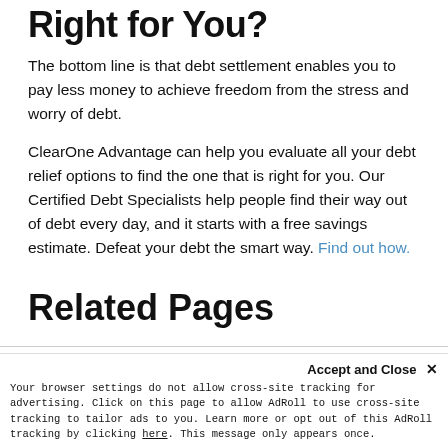Right for You?
The bottom line is that debt settlement enables you to pay less money to achieve freedom from the stress and worry of debt.
ClearOne Advantage can help you evaluate all your debt relief options to find the one that is right for you. Our Certified Debt Specialists help people find their way out of debt every day, and it starts with a free savings estimate. Defeat your debt the smart way. Find out how.
Related Pages
Accept and Close ✕
Your browser settings do not allow cross-site tracking for advertising. Click on this page to allow AdRoll to use cross-site tracking to tailor ads to you. Learn more or opt out of this AdRoll tracking by clicking here. This message only appears once.